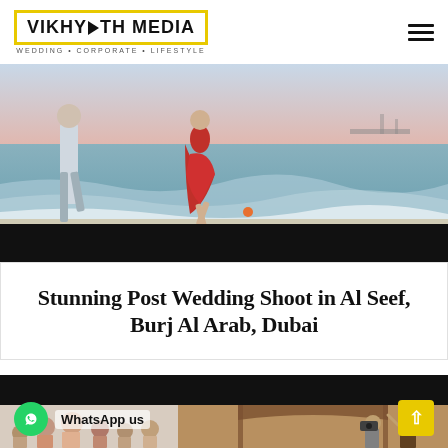VIKHY▶TH MEDIA — WEDDING • CORPORATE • LIFESTYLE
[Figure (photo): Couple running on a beach with ocean waves, woman in red dress, sunset sky in background, black band at bottom of image]
Stunning Post Wedding Shoot in Al Seef, Burj Al Arab, Dubai
[Figure (photo): Black top band followed by a wedding group photo on the left showing a bride and guests, and a candid camera/event photo on the right]
WhatsApp us